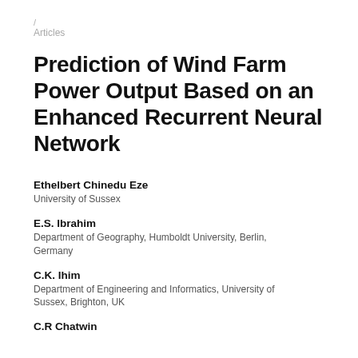/ Articles
Prediction of Wind Farm Power Output Based on an Enhanced Recurrent Neural Network
Ethelbert Chinedu Eze
University of Sussex
E.S. Ibrahim
Department of Geography, Humboldt University, Berlin, Germany
C.K. Ihim
Department of Engineering and Informatics, University of Sussex, Brighton, UK
C.R Chatwin